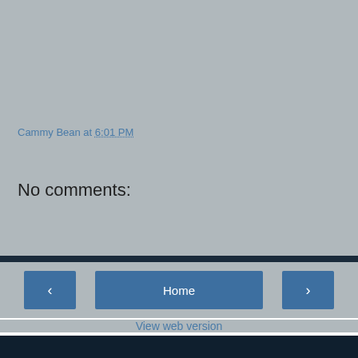Cammy Bean at 6:01 PM
Share
No comments:
Post a Comment
‹
Home
›
View web version
CAMMY BEAN